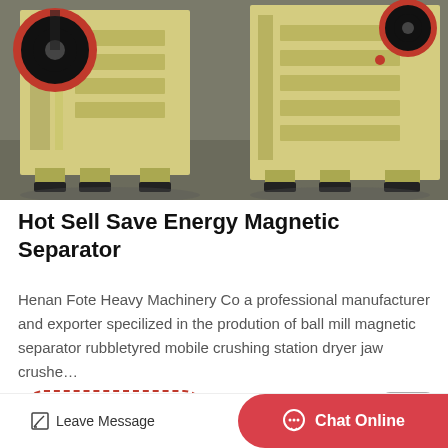[Figure (photo): Yellow industrial jaw crusher / magnetic separator machines on a factory floor, two large machines visible side by side.]
Hot Sell Save Energy Magnetic Separator
Henan Fote Heavy Machinery Co a professional manufacturer and exporter specilized in the prodution of ball mill magnetic separator rubbletyred mobile crushing station dryer jaw crushe…
Read More
Leave Message
Chat Online